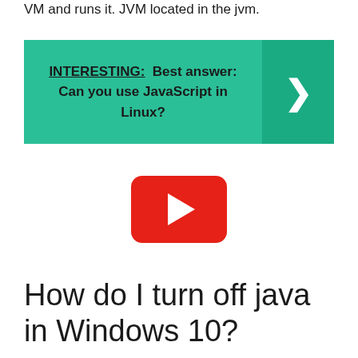VM and runs it. JVM located in the jvm.
[Figure (infographic): Teal/green banner with bold text: INTERESTING: Best answer: Can you use JavaScript in Linux? with a dark teal arrow chevron on the right side.]
[Figure (other): YouTube play button icon — red rounded rectangle with white play triangle in center.]
How do I turn off java in Windows 10?